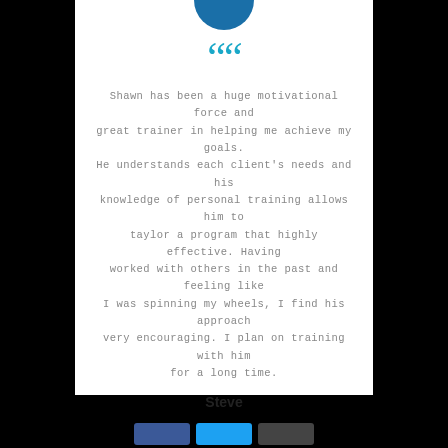[Figure (illustration): Partial avatar circle at top of testimonial card]
““
Shawn has been a huge motivational force and great trainer in helping me achieve my goals. He understands each client’s needs and his knowledge of personal training allows him to taylor a program that highly effective. Having worked with others in the past and feeling like I was spinning my wheels, I find his approach very encouraging. I plan on training with him for a long time.
Steve